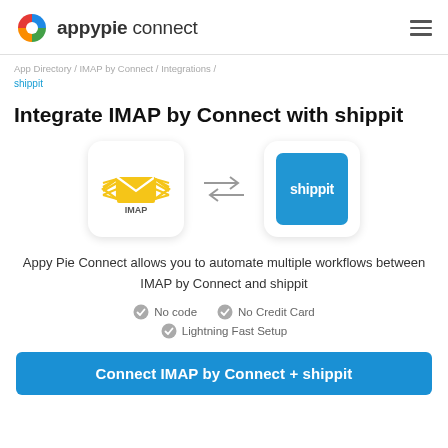appypie connect
App Directory / IMAP by Connect / Integrations / shippit
Integrate IMAP by Connect with shippit
[Figure (infographic): IMAP by Connect logo icon and Shippit logo with bidirectional arrows between them]
Appy Pie Connect allows you to automate multiple workflows between IMAP by Connect and shippit
No code
No Credit Card
Lightning Fast Setup
Connect IMAP by Connect + shippit